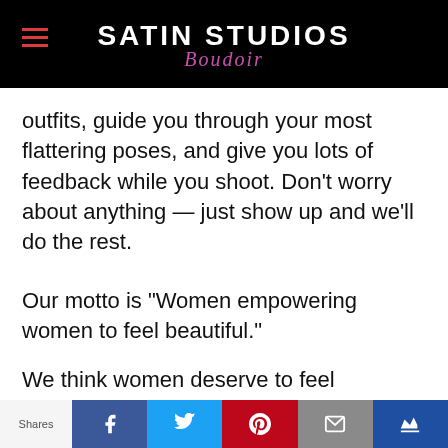Satin Studios Boudoir
outfits, guide you through your most flattering poses, and give you lots of feedback while you shoot. Don't worry about anything — just show up and we'll do the rest.
Our motto is “Women empowering women to feel beautiful.”
We think women deserve to feel awesome because because
Shares | Facebook | Twitter | Pinterest | Email | Crown